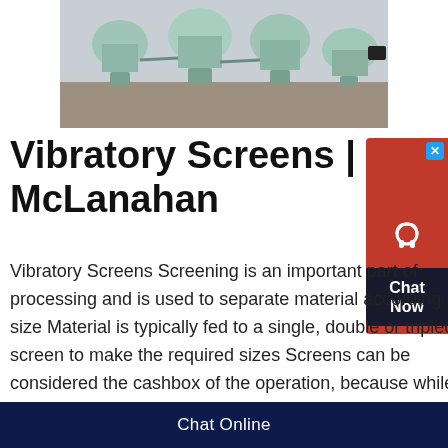[Figure (photo): Industrial vibratory screening machines (large cone-shaped equipment) arranged in an outdoor industrial yard]
Vibratory Screens | McLanahan
Vibratory Screens Screening is an important part of processing and is used to separate material according to its size Material is typically fed to a single, double or tripledeck screen to make the required sizes Screens can be considered the cashbox of the operation, because while crushers make the gradation, screens make the specification2 and 3 deck, 8' x 20'; and on 2 deck, 8' x 24' screens Triple vibrating mechanisms are
Chat Online